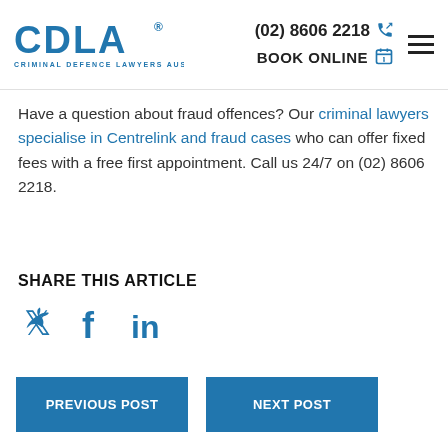CDLA® CRIMINAL DEFENCE LAWYERS AUSTRALIA | (02) 8606 2218 | BOOK ONLINE
Have a question about fraud offences? Our criminal lawyers specialise in Centrelink and fraud cases who can offer fixed fees with a free first appointment. Call us 24/7 on (02) 8606 2218.
SHARE THIS ARTICLE
[Figure (other): Social media share icons: Twitter bird, Facebook f, LinkedIn in]
PREVIOUS POST | NEXT POST